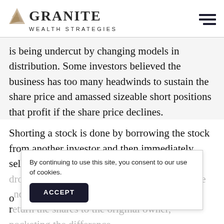GRANITE WEALTH STRATEGIES
is being undercut by changing models in distribution. Some investors believed the business has too many headwinds to sustain the share price and amassed sizeable short positions that profit if the share price declines.
Shorting a stock is done by borrowing the stock from another investor and then immediately selling it. The h... re... o...
By continuing to use this site, you consent to our use of cookies.